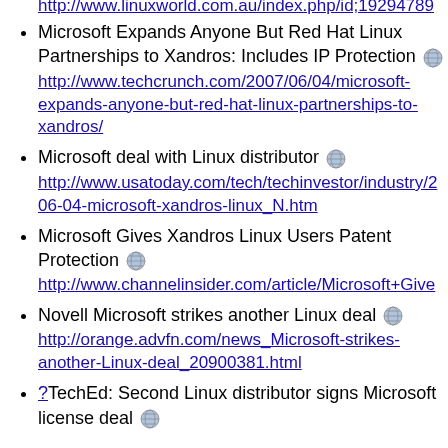http://www.linuxworld.com.au/index.php/id;192947...
Microsoft Expands Anyone But Red Hat Linux Partnerships to Xandros: Includes IP Protection
Microsoft deal with Linux distributor
Microsoft Gives Xandros Linux Users Patent Protection
Novell Microsoft strikes another Linux deal
?TechEd: Second Linux distributor signs Microsoft license deal